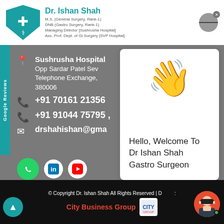Dr. Ishan Shah - M.S. (General Surgery, Rank-1), DNB (Gastro Surgery, Rank-1), Managing Director [Sushrusha Hospital], Ass. Prof. Dept. of GI Surgery [SVP Hospital]
Sushrusha Hospital
Opp Sardar Patel Sev
Telephone Exchange,
380006
+91 70161 21356
+91 91044 75795 ,
drshahishan@gma
[Figure (illustration): Waving hand emoji (yellow)]
Hello, Welcome To Dr Ishan Shah Gastro Surgeon
© Copyright Dr. Ishan Shah All Rights Reserved | D... : City Business Group